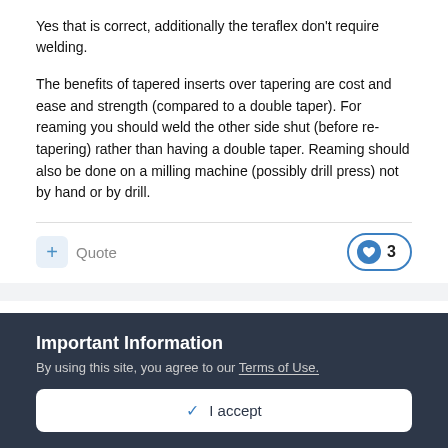Yes that is correct, additionally the teraflex don't require welding.
The benefits of tapered inserts over tapering are cost and ease and strength (compared to a double taper). For reaming you should weld the other side shut (before re-tapering) rather than having a double taper. Reaming should also be done on a milling machine (possibly drill press) not by hand or by drill.
Quote   3
flatcat19
Posted June 16, 2017
Important Information
By using this site, you agree to our Terms of Use.
✓  I accept